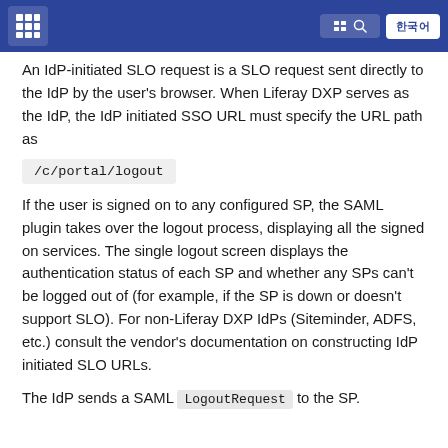[Liferay logo] [menu icon] [search icon] [button text]
An IdP-initiated SLO request is a SLO request sent directly to the IdP by the user's browser. When Liferay DXP serves as the IdP, the IdP initiated SSO URL must specify the URL path as
If the user is signed on to any configured SP, the SAML plugin takes over the logout process, displaying all the signed on services. The single logout screen displays the authentication status of each SP and whether any SPs can't be logged out of (for example, if the SP is down or doesn't support SLO). For non-Liferay DXP IdPs (Siteminder, ADFS, etc.) consult the vendor's documentation on constructing IdP initiated SLO URLs.
The IdP sends a SAML LogoutRequest to the SP.